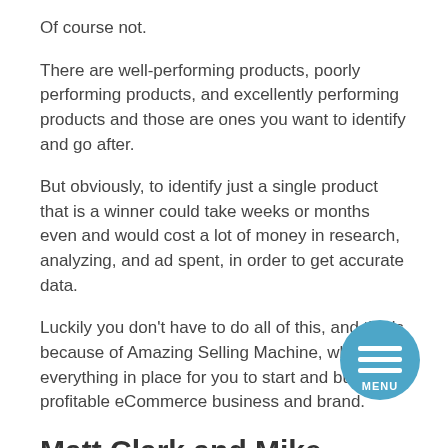Of course not.
There are well-performing products, poorly performing products, and excellently performing products and those are ones you want to identify and go after.
But obviously, to identify just a single product that is a winner could take weeks or months even and would cost a lot of money in research, analyzing, and ad spent, in order to get accurate data.
Luckily you don't have to do all of this, and that's because of Amazing Selling Machine, which has everything in place for you to start and build a profitable eCommerce business and brand.
Matt Clark and Mike McCleary